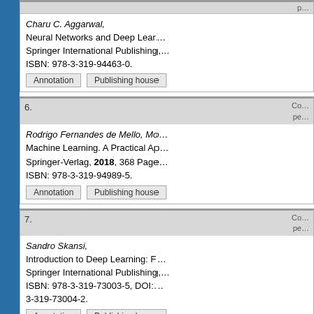Charu C. Aggarwal, Neural Networks and Deep Learning, Springer International Publishing, ISBN: 978-3-319-94463-0. [Annotation] [Publishing house]
6. Rodrigo Fernandes de Mello, Machine Learning. A Practical Approach, Springer-Verlag, 2018, 368 Pages, ISBN: 978-3-319-94989-5. [Annotation] [Publishing house]
7. Sandro Skansi, Introduction to Deep Learning: F... Springer International Publishing, ISBN: 978-3-319-73003-5, DOI: 3-319-73004-2. [Annotation] [Publishing house]
8. Nurit Gal-Oz, Peter R. Lewis (Eds.)...